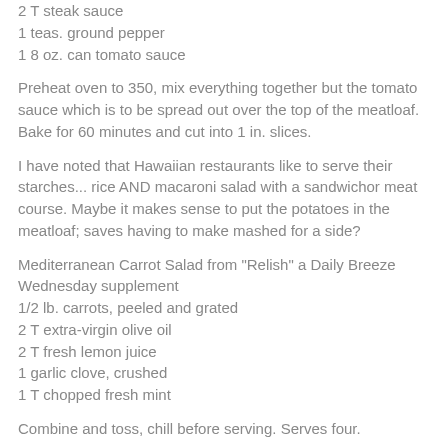2 T steak sauce
1 teas. ground pepper
1 8 oz. can tomato sauce
Preheat oven to 350, mix everything together but the tomato sauce which is to be spread out over the top of the meatloaf. Bake for 60 minutes and cut into 1 in. slices.
I have noted that Hawaiian restaurants like to serve their starches... rice AND macaroni salad with a sandwichor meat course. Maybe it makes sense to put the potatoes in the meatloaf; saves having to make mashed for a side?
Mediterranean Carrot Salad from "Relish" a Daily Breeze Wednesday supplement
1/2 lb. carrots, peeled and grated
2 T extra-virgin olive oil
2 T fresh lemon juice
1 garlic clove, crushed
1 T chopped fresh mint
Combine and toss, chill before serving. Serves four.